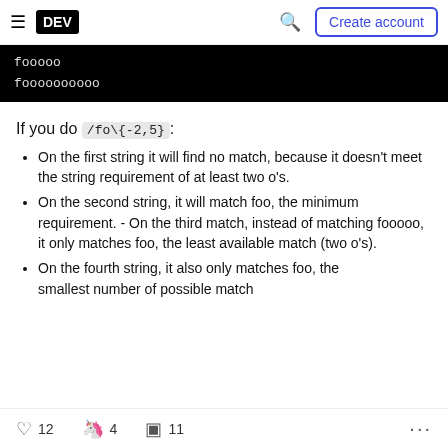DEV | Create account
fooooo
foooooooooo
If you do /fo\{-2,5}:
On the first string it will find no match, because it doesn't meet the string requirement of at least two o's.
On the second string, it will match foo, the minimum requirement. - On the third match, instead of matching fooooo, it only matches foo, the least available match (two o's).
On the fourth string, it also only matches foo, the smallest number of possible match
12  4  11  ...